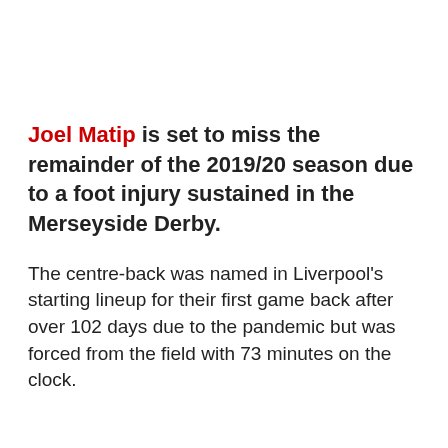Joel Matip is set to miss the remainder of the 2019/20 season due to a foot injury sustained in the Merseyside Derby.
The centre-back was named in Liverpool's starting lineup for their first game back after over 102 days due to the pandemic but was forced from the field with 73 minutes on the clock.